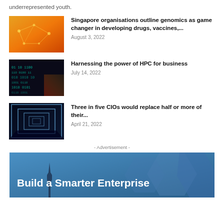underrepresented youth.
[Figure (photo): Yellow/orange abstract network graphic with connected nodes]
Singapore organisations outline genomics as game changer in developing drugs, vaccines,...
August 3, 2022
[Figure (photo): Dark image with glowing digital code/numbers in teal and red]
Harnessing the power of HPC for business
July 14, 2022
[Figure (photo): Blue hallway with glowing white neon square frames receding into distance]
Three in five CIOs would replace half or more of their...
April 21, 2022
- Advertisement -
[Figure (photo): Advertisement banner: blue background with hexagonal shapes and city spire. Text: Build a Smarter Enterprise]